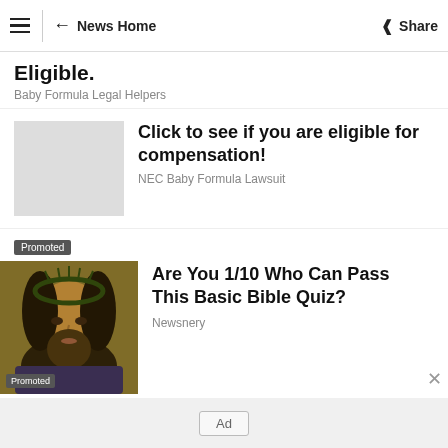≡  ← News Home  Share
Eligible.
Baby Formula Legal Helpers
Click to see if you are eligible for compensation!
NEC Baby Formula Lawsuit
Promoted
[Figure (illustration): Painting of Jesus Christ wearing a crown of thorns, in a classical Renaissance style with golden-brown tones.]
Promoted
Are You 1/10 Who Can Pass This Basic Bible Quiz?
Newsnery
Ad